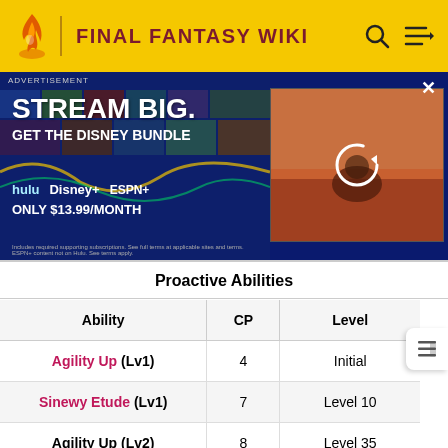FINAL FANTASY WIKI
[Figure (screenshot): Disney Bundle advertisement banner. Text reads: STREAM BIG. GET THE DISNEY BUNDLE. Hulu, Disney+, ESPN+. ONLY $13.99/MONTH. With a video thumbnail on the right showing a loading/refresh icon.]
Proactive Abilities
| Ability | CP | Level |
| --- | --- | --- |
| Agility Up (Lv1) | 4 | Initial |
| Sinewy Etude (Lv1) | 7 | Level 10 |
| Agility Up (Lv2) | 8 | Level 35 |
| Sinewy Etude (Lv2) | 10 | Level 50 |